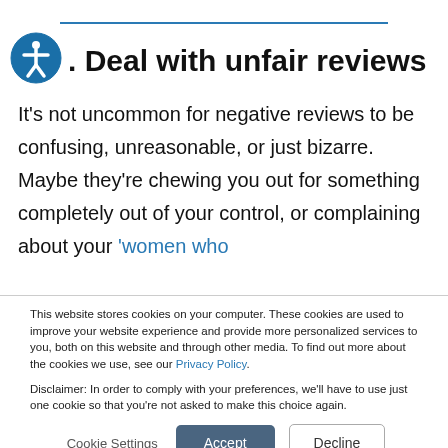. Deal with unfair reviews
It’s not uncommon for negative reviews to be confusing, unreasonable, or just bizarre. Maybe they’re chewing you out for something completely out of your control, or complaining about your ‘women who
This website stores cookies on your computer. These cookies are used to improve your website experience and provide more personalized services to you, both on this website and through other media. To find out more about the cookies we use, see our Privacy Policy.

Disclaimer: In order to comply with your preferences, we’ll have to use just one cookie so that you’re not asked to make this choice again.